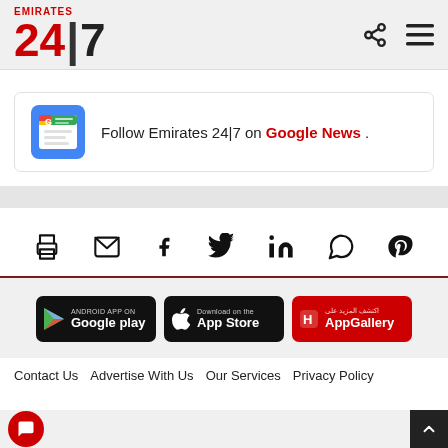Emirates 24|7
Follow Emirates 24|7 on Google News .
[Figure (infographic): Social sharing icons: print, email, facebook, twitter, linkedin, whatsapp, pinterest]
[Figure (infographic): App download badges: Google Play, App Store, AppGallery]
Contact Us   Advertise With Us   Our Services   Privacy Policy